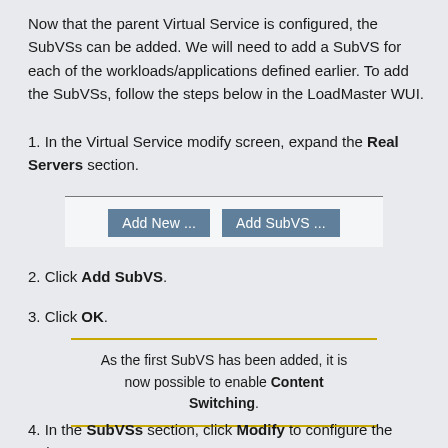Now that the parent Virtual Service is configured, the SubVSs can be added. We will need to add a SubVS for each of the workloads/applications defined earlier. To add the SubVSs, follow the steps below in the LoadMaster WUI.
1. In the Virtual Service modify screen, expand the Real Servers section.
[Figure (screenshot): Screenshot showing two buttons: 'Add New ...' and 'Add SubVS ...' with a horizontal rule above them.]
2. Click Add SubVS.
3. Click OK.
As the first SubVS has been added, it is now possible to enable Content Switching.
4. In the SubVSs section, click Modify to configure the SubVS.